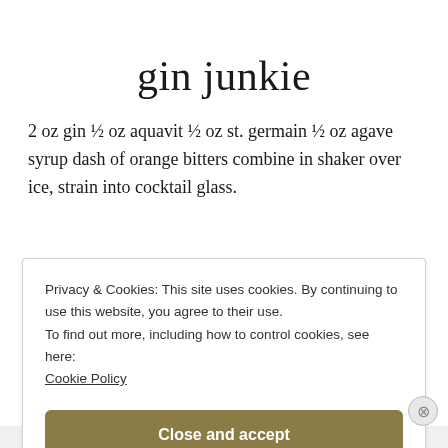gin junkie
2 oz gin ½ oz aquavit ½ oz st. germain ½ oz agave syrup dash of orange bitters combine in shaker over ice, strain into cocktail glass.
Privacy & Cookies: This site uses cookies. By continuing to use this website, you agree to their use.
To find out more, including how to control cookies, see here:
Cookie Policy
Close and accept